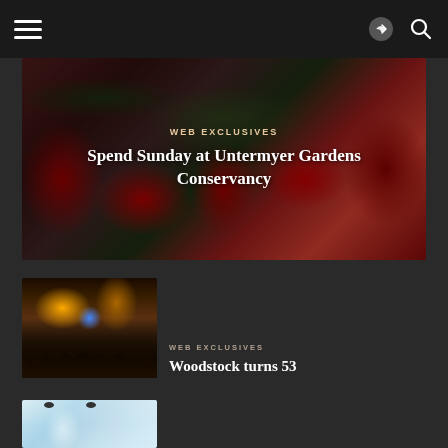Navigation bar with hamburger menu and icons
[Figure (photo): Garden photograph with red flowers and green foliage, overlaid with text 'WEB EXCLUSIVES' and title 'Spend Sunday at Untermyer Gardens Conservancy']
WEB EXCLUSIVES
Spend Sunday at Untermyer Gardens Conservancy
[Figure (photo): Concert crowd photograph with stage lighting, overlaid with category label 'WEB EXCLUSIVES' and title 'Woodstock turns 53']
WEB EXCLUSIVES
Woodstock turns 53
[Figure (photo): Partial view of ceramic or pottery items with light blue/teal coloring]